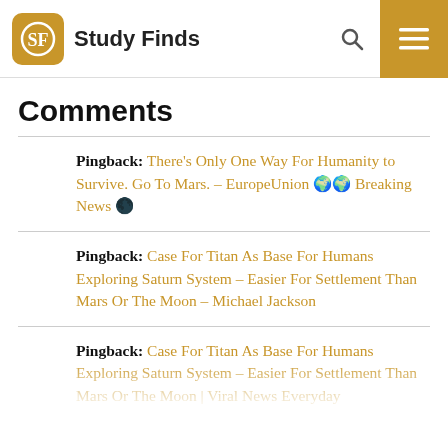Study Finds
Comments
Pingback: There's Only One Way For Humanity to Survive. Go To Mars. – EuropeUnion 🌍🌍 Breaking News 🌑
Pingback: Case For Titan As Base For Humans Exploring Saturn System – Easier For Settlement Than Mars Or The Moon – Michael Jackson
Pingback: Case For Titan As Base For Humans Exploring Saturn System – Easier For Settlement Than Mars Or The Moon | Viral News Everyday